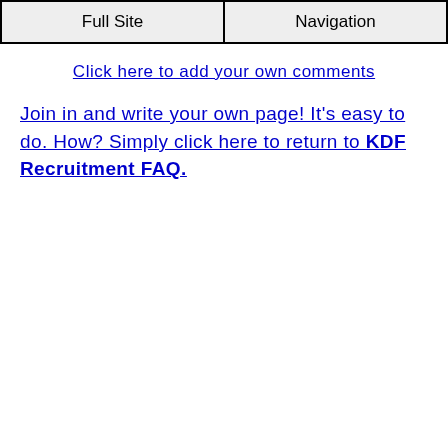Full Site | Navigation
Click here to add your own comments
Join in and write your own page! It's easy to do. How? Simply click here to return to KDF Recruitment FAQ.